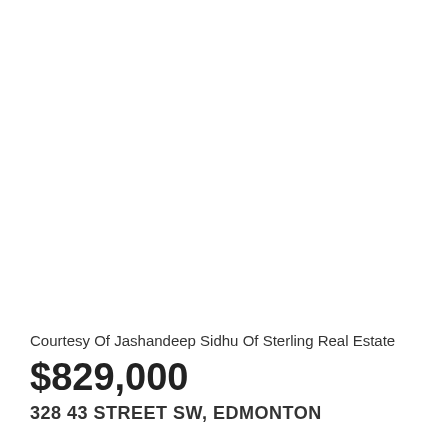[Figure (photo): Exterior photo of a residential property — image area appears blank/white in this crop]
Courtesy Of Jashandeep Sidhu Of Sterling Real Estate
$829,000
328 43 STREET SW, EDMONTON